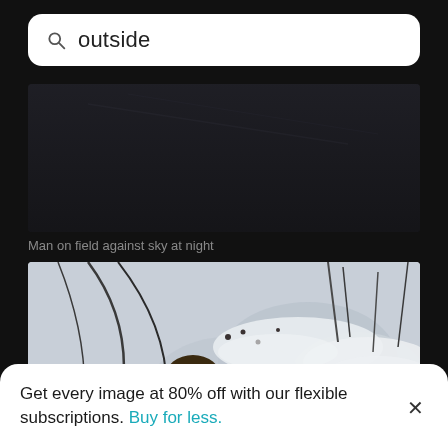outside
[Figure (photo): Dark nearly black image of a man on a field against sky at night]
Man on field against sky at night
[Figure (photo): Woman with long blonde hair blowing in winter wind, snow-covered bushes in background, overcast sky]
Get every image at 80% off with our flexible subscriptions. Buy for less.